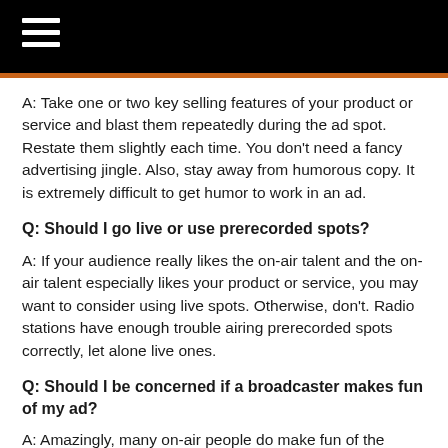A: Take one or two key selling features of your product or service and blast them repeatedly during the ad spot. Restate them slightly each time. You don’t need a fancy advertising jingle. Also, stay away from humorous copy. It is extremely difficult to get humor to work in an ad.
Q: Should I go live or use prerecorded spots?
A: If your audience really likes the on-air talent and the on-air talent especially likes your product or service, you may want to consider using live spots. Otherwise, don’t. Radio stations have enough trouble airing prerecorded spots correctly, let alone live ones.
Q: Should I be concerned if a broadcaster makes fun of my ad?
A: Amazingly, many on-air people do make fun of the advertising they present or run during their shows, even though this very same advertising provides their living. Oddly